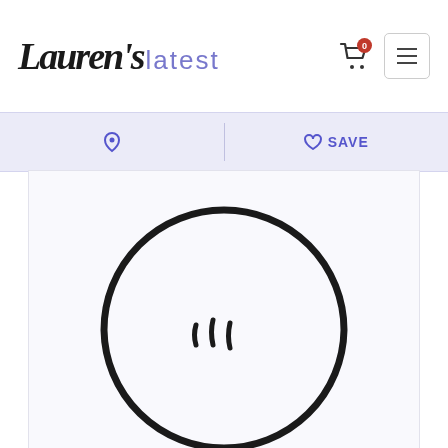Lauren's latest
[Figure (screenshot): Website header with Lauren's Latest logo, shopping cart icon with badge showing 0, and hamburger menu button]
[Figure (other): Social sharing toolbar with Pinterest icon and SAVE button on lavender background]
[Figure (illustration): Partial illustration of a sad/crying face emoji with steam/smoke lines visible at the bottom of the page]